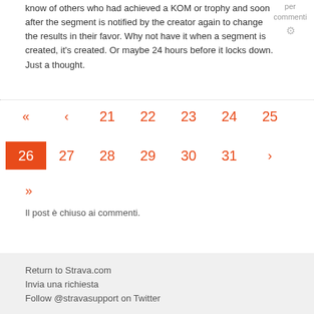know of others who had achieved a KOM or trophy and soon after the segment is notified by the creator again to change the results in their favor. Why not have it when a segment is created, it's created. Or maybe 24 hours before it locks down. Just a thought.
per commenti
« ‹ 21 22 23 24 25
26 27 28 29 30 31 »
»
Il post è chiuso ai commenti.
Return to Strava.com
Invia una richiesta
Follow @stravasupport on Twitter